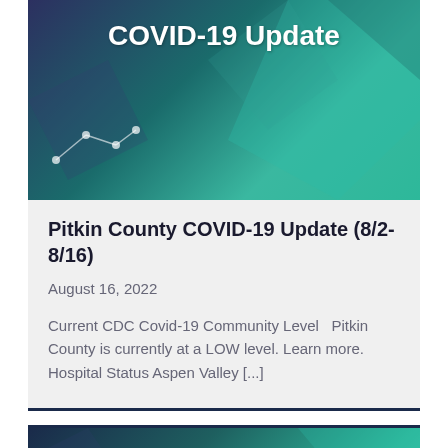[Figure (illustration): COVID-19 Update banner with dark teal/purple geometric background and 'COVID-19 Update' text in white bold]
Pitkin County COVID-19 Update  (8/2-8/16)
August 16, 2022
Current CDC Covid-19 Community Level   Pitkin County is currently at a LOW level. Learn more. Hospital Status Aspen Valley [...]
[Figure (illustration): Pitkin County COVID update banner with teal/green gradient background and 'Pitkin County' text in white bold]